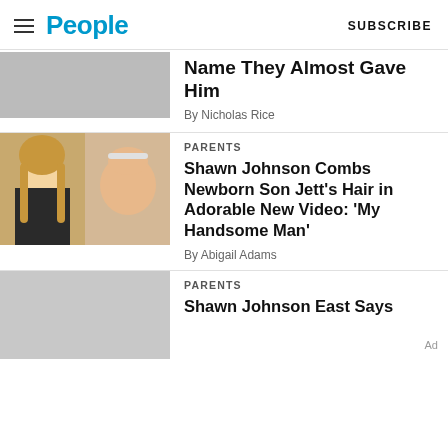People | SUBSCRIBE
Name They Almost Gave Him
By Nicholas Rice
[Figure (photo): Two-photo collage: a woman with long blonde hair on the left, and a newborn baby on the right]
PARENTS
Shawn Johnson Combs Newborn Son Jett’s Hair in Adorable New Video: ‘My Handsome Man’
By Abigail Adams
[Figure (photo): Gray placeholder image for article thumbnail]
PARENTS
Shawn Johnson East Says